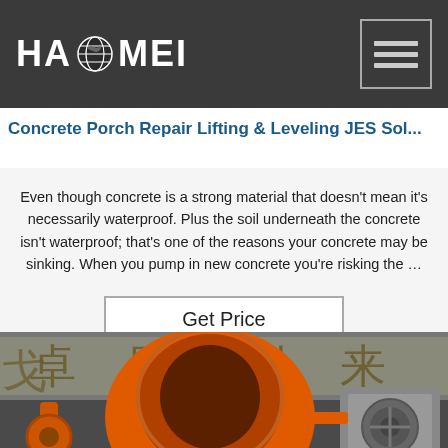HAOMEI
Concrete Porch Repair Lifting & Leveling JES Sol...
Even though concrete is a strong material that doesn't mean it's necessarily waterproof. Plus the soil underneath the concrete isn't waterproof; that's one of the reasons your concrete may be sinking. When you pump in new concrete you're risking the …
[Figure (photo): Close-up photograph of an orange concrete mixer machine with Chinese text/signage visible in the background and a grey electrical panel on the right side.]